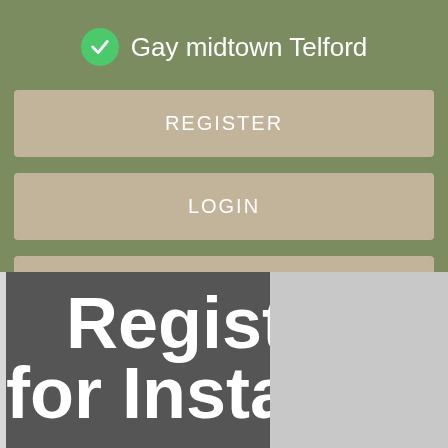Gay midtown Telford
REGISTER
LOGIN
CONTACT US
[Figure (screenshot): Partially visible background screen showing text 'Regist' and 'for Insta' in bold white text on a dark gray background, with a light gray panel on the right]